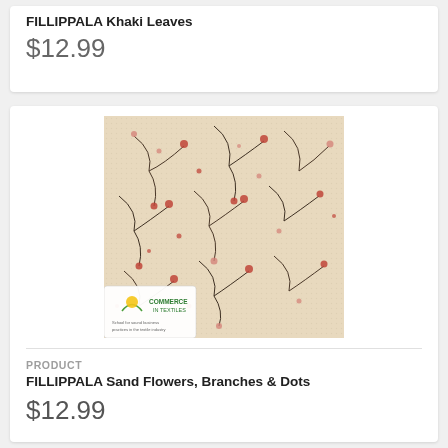FILLIPPALA Khaki Leaves
$12.99
[Figure (photo): Fabric swatch showing sand/beige background with small red flowers, dark branches and dots pattern. Commerce in Textiles logo visible in bottom left corner.]
PRODUCT
FILLIPPALA Sand Flowers, Branches & Dots
$12.99
[Figure (photo): Partial view of fabric swatch with blue/pink floral pattern on white background at bottom of page.]